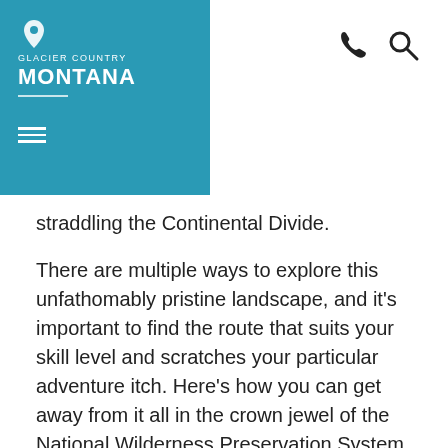[Figure (logo): Glacier Country Montana logo — white text on teal/blue background with a map pin icon and hamburger menu]
straddling the Continental Divide.
There are multiple ways to explore this unfathomably pristine landscape, and it's important to find the route that suits your skill level and scratches your particular adventure itch. Here's how you can get away from it all in the crown jewel of the National Wilderness Preservation System, and experience nature at its finest.
Perhaps the most famous spot to visit in The Bob—and its most prominent feature—is the Chinese Wall. Marking the Continental Divide, this roughly 12-mile-